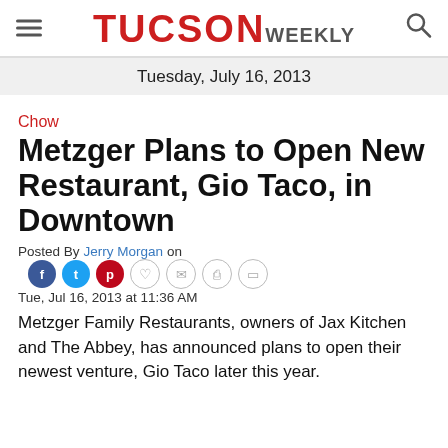TUCSON WEEKLY
Tuesday, July 16, 2013
Chow
Metzger Plans to Open New Restaurant, Gio Taco, in Downtown
Posted By Jerry Morgan on Tue, Jul 16, 2013 at 11:36 AM
Metzger Family Restaurants, owners of Jax Kitchen and The Abbey, has announced plans to open their newest venture, Gio Taco later this year.